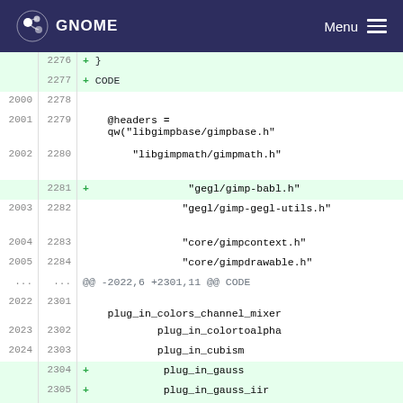GNOME   Menu
[Figure (screenshot): Code diff view showing lines 2276-2306 with additions highlighted in green. Lines added include gegl/gimp-babl.h, plug_in_gauss, plug_in_gauss_iir, plug_in_gauss_iir2. Context lines show headers assignment with libgimpbase/gimpbase.h, libgimpmath/gimpmath.h, gegl/gimp-gegl-utils.h, core/gimpcontext.h, core/gimpdrawable.h, and plug_in_colors_channel_mixer, plug_in_colortoalpha, plug_in_cubism entries.]